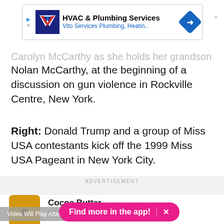[Figure (screenshot): Advertisement banner for HVAC & Plumbing Services - Vito Services Plumbing, Heating. with logo and arrow icon]
Carolyn McCarthy as she holds her grandson, Conner Nolan McCarthy, at the beginning of a discussion on gun violence in Rockville Centre, New York.
Right: Donald Trump and a group of Miss USA contestants kick off the 1999 Miss USA Pageant in New York City.
ADVERTISEMENT
[Figure (logo): Cocoa Butter on BuzzFeed - yellow/orange square icon with brown dot]
Cocoa Butter
on BuzzFeed
Video Will Play After
Find more in the app!  ×